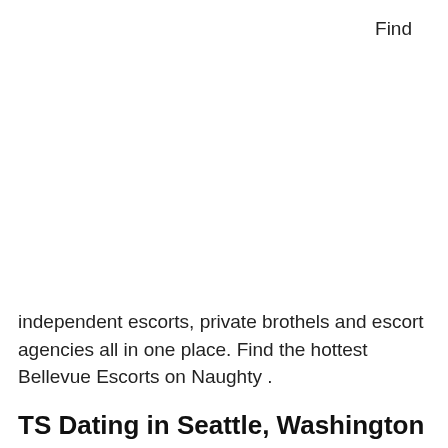Find
independent escorts, private brothels and escort agencies all in one place. Find the hottest Bellevue Escorts on Naughty .
TS Dating in Seattle, Washington